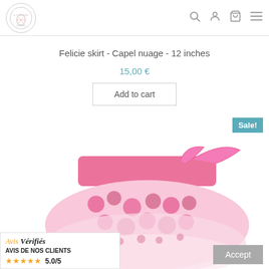La Petite Poupee - store navigation header with logo and icons
Felicie skirt - Capel nuage - 12 inches
15,00 €
Add to cart
Sale!
[Figure (photo): Pink floral skirt with pink ribbon tie, laid flat showing floral pattern in pink/red on white background]
Avis Vérifiés
AVIS DE NOS CLIENTS
★★★★★ 5.0/5
Accept